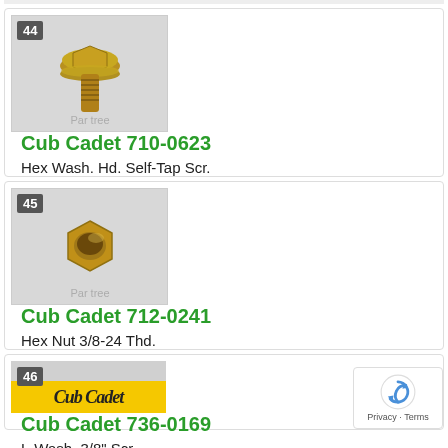[Figure (photo): Hex Wash. Hd. Self-Tap Screw product image with Partstree watermark, item number 44]
Cub Cadet 710-0623
Hex Wash. Hd. Self-Tap Scr.
$3.99
In Stock, Qty 20+
[Figure (photo): Hex Nut product image with Partstree watermark, item number 45]
Cub Cadet 712-0241
Hex Nut 3/8-24 Thd.
$3.99
In Stock, Qty 18
[Figure (logo): Cub Cadet yellow logo banner, item number 46]
Cub Cadet 736-0169
L-Wash. 3/8" Scr.